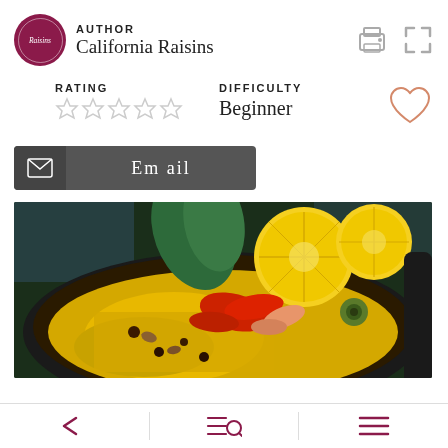[Figure (logo): California Raisins circular logo in dark magenta/maroon color with script text]
AUTHOR
California Raisins
[Figure (other): Print icon and expand/fullscreen icon in gray]
RATING
[Figure (other): 5 empty/gray stars for rating]
DIFFICULTY
Beginner
[Figure (other): Heart/favorite icon outline in salmon/rose color]
[Figure (other): Email button - dark gray button with envelope icon and 'Em ail' text]
[Figure (photo): Food photo of paella dish with yellow rice, shrimp, red peppers, olives, and lemon slices in a dark pan]
← navigation | search icon | menu icon